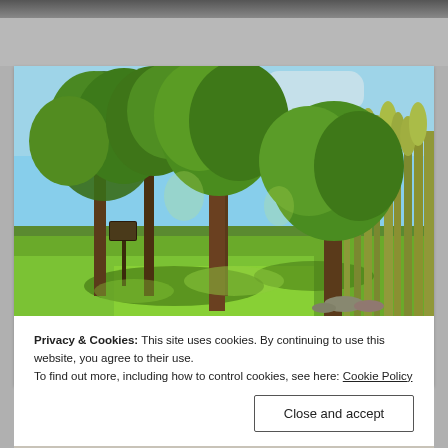[Figure (photo): Outdoor garden/park scene with tall trees, lush green grass, and dense vegetation including tall reeds/grasses on the right side. Sunny day with blue sky visible through the canopy. A small sign post is visible on the left side among the trees.]
Privacy & Cookies: This site uses cookies. By continuing to use this website, you agree to their use.
To find out more, including how to control cookies, see here: Cookie Policy
Close and accept
THE